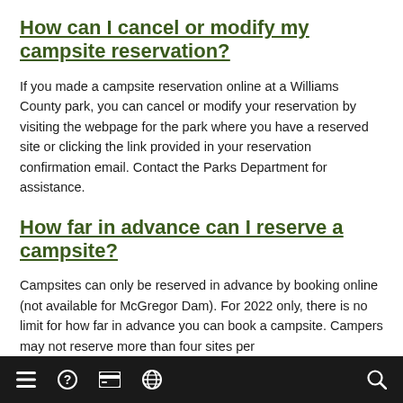How can I cancel or modify my campsite reservation?
If you made a campsite reservation online at a Williams County park, you can cancel or modify your reservation by visiting the webpage for the park where you have a reserved site or clicking the link provided in your reservation confirmation email. Contact the Parks Department for assistance.
How far in advance can I reserve a campsite?
Campsites can only be reserved in advance by booking online (not available for McGregor Dam). For 2022 only, there is no limit for how far in advance you can book a campsite. Campers may not reserve more than four sites per
Navigation bar with icons: menu, help, payment, globe, search